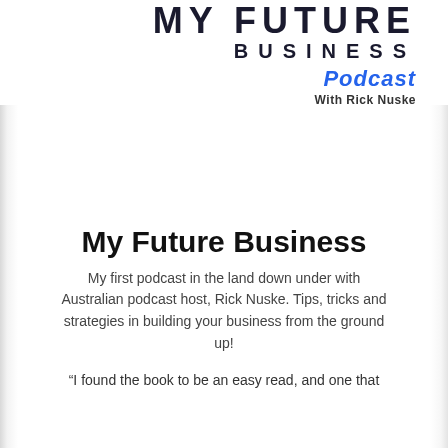MY FUTURE BUSINESS
Podcast
With Rick Nuske
My Future Business
My first podcast in the land down under with Australian podcast host, Rick Nuske. Tips, tricks and strategies in building your business from the ground up!
“I found the book to be an easy read, and one that